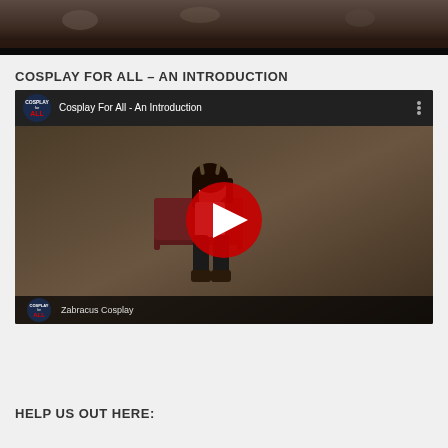[Figure (screenshot): Top portion of a stage or panel event photo, showing a dark stage with some equipment visible]
COSPLAY FOR ALL – AN INTRODUCTION
[Figure (screenshot): YouTube video embed showing 'Cosplay For All - An Introduction' with a woman seated in a chair wearing a white t-shirt and black boots, with a YouTube play button overlay. Bottom caption reads 'Zabracus Cosplay'. Channel icon shows Cosplay for ALL logo.]
HELP US OUT HERE: